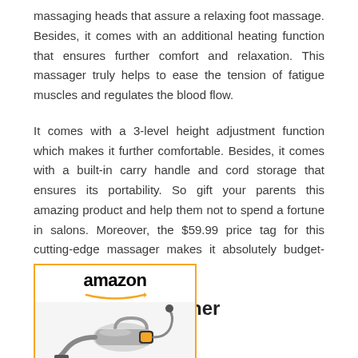massaging heads that assure a relaxing foot massage. Besides, it comes with an additional heating function that ensures further comfort and relaxation. This massager truly helps to ease the tension of fatigue muscles and regulates the blood flow.
It comes with a 3-level height adjustment function which makes it further comfortable. Besides, it comes with a built-in carry handle and cord storage that ensures its portability. So gift your parents this amazing product and help them not to spend a fortune in salons. Moreover, the $59.99 price tag for this cutting-edge massager makes it absolutely budget-friendly.
Car Vacuum Cleaner
[Figure (photo): Amazon product listing image showing a car vacuum cleaner, with the Amazon logo and arrow at the top of the image box, bordered in orange.]